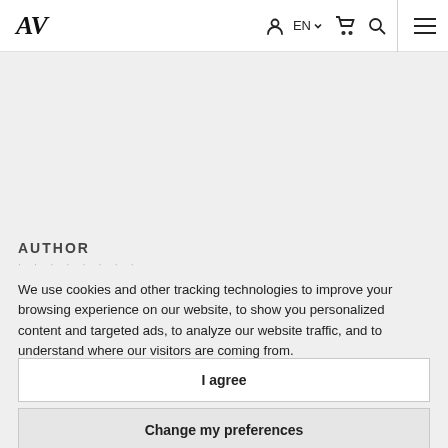AV — EN — navigation icons — menu
AUTHOR
We use cookies and other tracking technologies to improve your browsing experience on our website, to show you personalized content and targeted ads, to analyze our website traffic, and to understand where our visitors are coming from.
I agree
Change my preferences